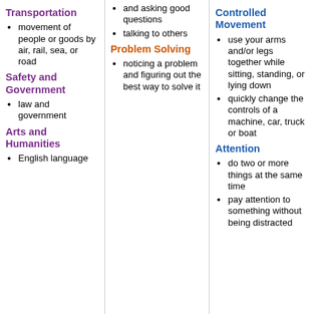Transportation
movement of people or goods by air, rail, sea, or road
Safety and Government
law and government
Arts and Humanities
English language
and asking good questions
talking to others
Problem Solving
noticing a problem and figuring out the best way to solve it
Controlled Movement
use your arms and/or legs together while sitting, standing, or lying down
quickly change the controls of a machine, car, truck or boat
Attention
do two or more things at the same time
pay attention to something without being distracted